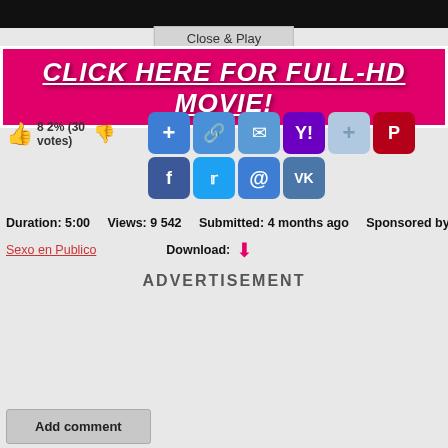[Figure (screenshot): Top black video bar]
Close & Play
CLICK HERE FOR FULL-HD MOVIE!
[Figure (infographic): Thumbs up/down rating: 82% (30 votes)]
[Figure (infographic): Social share buttons: add, link, email, Yahoo, G+, Pinterest, Facebook, Twitter, @, VK]
Duration: 5:00   Views: 9 542   Submitted: 4 months ago   Sponsored by:
Sexo en Publico   Download:
ADVERTISEMENT
Add comment